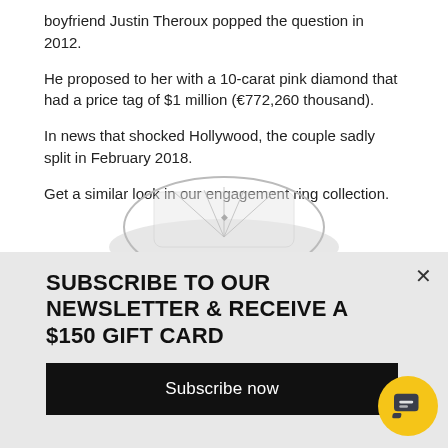boyfriend Justin Theroux popped the question in 2012.
He proposed to her with a 10-carat pink diamond that had a price tag of $1 million (€772,260 thousand).
In news that shocked Hollywood, the couple sadly split in February 2018.
Get a similar look in our engagement ring collection.
[Figure (photo): Close-up photo of a diamond engagement ring, showing the top half of the stone and band, partially visible at the bottom of the page.]
SUBSCRIBE TO OUR NEWSLETTER & RECEIVE A $150 GIFT CARD
Subscribe now